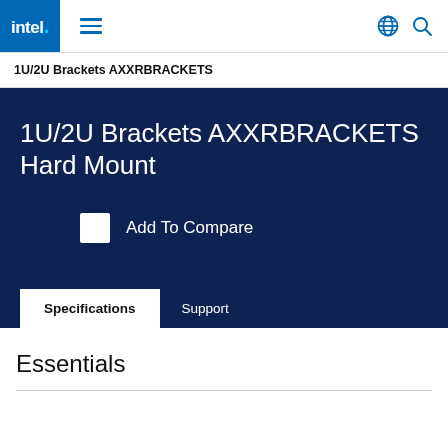Intel navigation bar with logo, hamburger menu, globe icon, and search icon
1U/2U Brackets AXXRBRACKETS
1U/2U Brackets AXXRBRACKETS Hard Mount
Add To Compare
Specifications   Support
Essentials